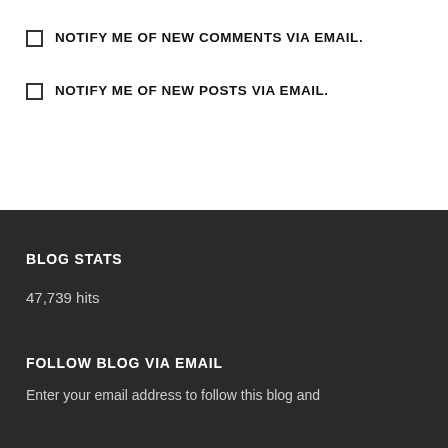NOTIFY ME OF NEW COMMENTS VIA EMAIL.
NOTIFY ME OF NEW POSTS VIA EMAIL.
BLOG STATS
47,739 hits
FOLLOW BLOG VIA EMAIL
Enter your email address to follow this blog and...